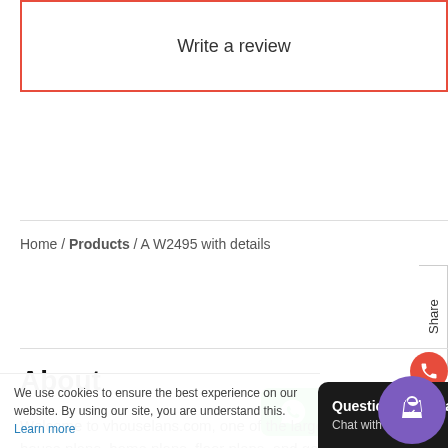Write a review
Home / Products / A W2495 with details
About
Welcome to vhouselans.com, one of the largest collections of house plans, home plans, floor plans, and garage plans.
We hope that you will take advantage of our market knowledge and experience with our leading house plans, home designs, blue prints and house floor plans and to take care of all of your home designs and needs.
We use cookies to ensure the best experience on our website. By using our site, you are understand this. Learn more
Questions? We can help.
Chat with us now.